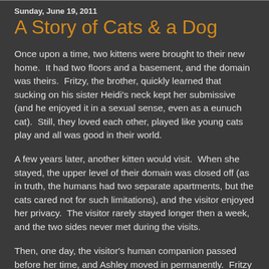Sunday, June 19, 2011
A Story of Cats & a Dog
Once upon a time, two kittens were brought to their new home.  It had two floors and a basement, and the domain was theirs.  Fritzy, the brother, quickly learned that sucking on his sister Heidi's neck kept her submissive (and he enjoyed it in a sexual sense, even as a eunuch cat).  Still, they loved each other, played like young cats play and all was good in their world.
A few years later, another kitten would visit.  When she stayed, the upper level of their domain was closed off (as in truth, the humans had two separate apartments, but the cats cared not for such limitations), and the visitor enjoyed her privacy.  The visitor rarely stayed longer then a week, and the two sides never met during the visits.
Then, one day, the visitor's human companion passed before her time, and Ashley moved in permanently.  Fritzy and Heidi